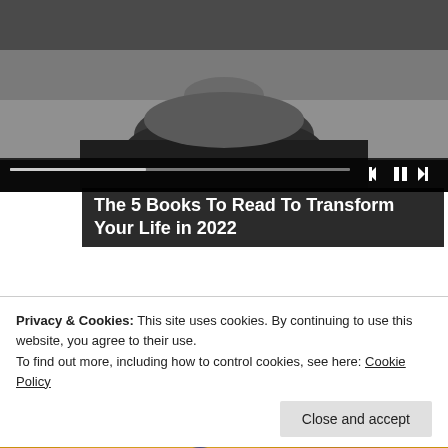[Figure (photo): Grayscale close-up photo of a bearded man's lower face with a media player control bar overlaid at the bottom]
The 5 Books To Read To Transform Your Life in 2022
[Figure (photo): Color photo of a bald man wearing dark sunglasses against a blurred red/dark background]
Privacy & Cookies: This site uses cookies. By continuing to use this website, you agree to their use.
To find out more, including how to control cookies, see here: Cookie Policy
[Figure (photo): Partial bottom image, appears to show a person in gold/yellow clothing]